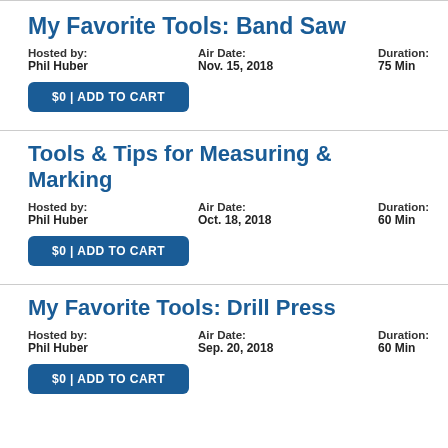My Favorite Tools: Band Saw
Hosted by: Phil Huber | Air Date: Nov. 15, 2018 | Duration: 75 Min
$0 | ADD TO CART
Tools & Tips for Measuring & Marking
Hosted by: Phil Huber | Air Date: Oct. 18, 2018 | Duration: 60 Min
$0 | ADD TO CART
My Favorite Tools: Drill Press
Hosted by: Phil Huber | Air Date: Sep. 20, 2018 | Duration: 60 Min
$0 | ADD TO CART